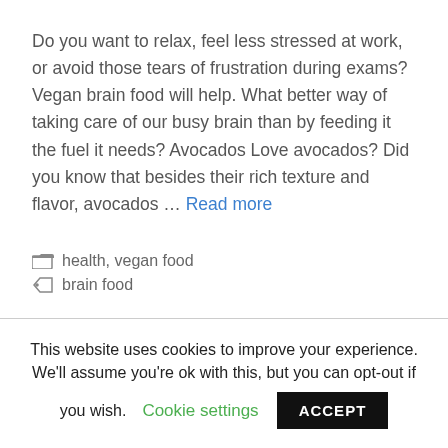Do you want to relax, feel less stressed at work, or avoid those tears of frustration during exams? Vegan brain food will help. What better way of taking care of our busy brain than by feeding it the fuel it needs? Avocados Love avocados? Did you know that besides their rich texture and flavor, avocados ... Read more
health, vegan food
brain food
This website uses cookies to improve your experience. We'll assume you're ok with this, but you can opt-out if you wish. Cookie settings ACCEPT